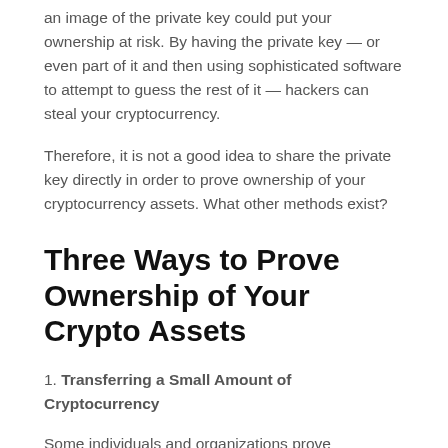an image of the private key could put your ownership at risk. By having the private key — or even part of it and then using sophisticated software to attempt to guess the rest of it — hackers can steal your cryptocurrency.
Therefore, it is not a good idea to share the private key directly in order to prove ownership of your cryptocurrency assets. What other methods exist?
Three Ways to Prove Ownership of Your Crypto Assets
1. Transferring a Small Amount of Cryptocurrency
Some individuals and organizations prove ownership by transferring a small amount of their cryptocurrency from a digital wallet to a third party that can serve as a neutral party to verify the crypto assets. However, this method